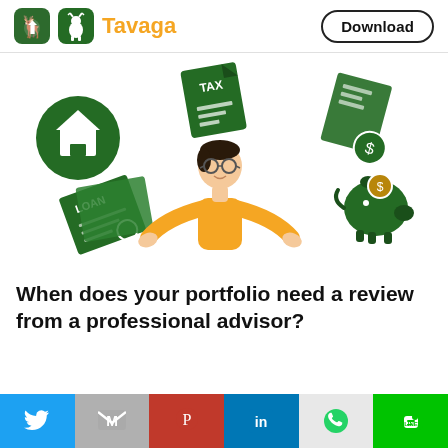[Figure (logo): Tavaga app logo: green rounded square with white bull/deer icon, orange text 'Tavaga', and a 'Download' button with rounded border on the right]
[Figure (illustration): A person in a yellow sweater with glasses standing with arms spread, surrounded by financial icons: house/real estate icon, tax document icon, investment/stock market icon, loan document icon, piggy bank icon — all in dark green on white background]
When does your portfolio need a review from a professional advisor?
[Figure (infographic): Social sharing bar at the bottom with six icons: Twitter (blue), Gmail (gray), Pinterest (red), LinkedIn (blue), WhatsApp (light gray), LINE (green)]